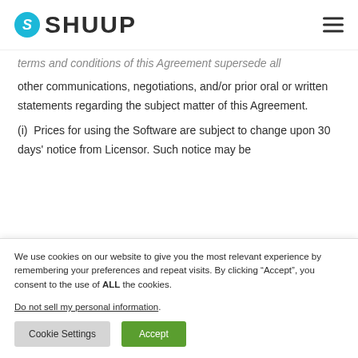[Figure (logo): Shuup logo with blue circle S icon and bold SHUUP text]
terms and conditions of this Agreement supersede all other communications, negotiations, and/or prior oral or written statements regarding the subject matter of this Agreement.
(i)  Prices for using the Software are subject to change upon 30 days' notice from Licensor. Such notice may be
We use cookies on our website to give you the most relevant experience by remembering your preferences and repeat visits. By clicking “Accept”, you consent to the use of ALL the cookies.
Do not sell my personal information.